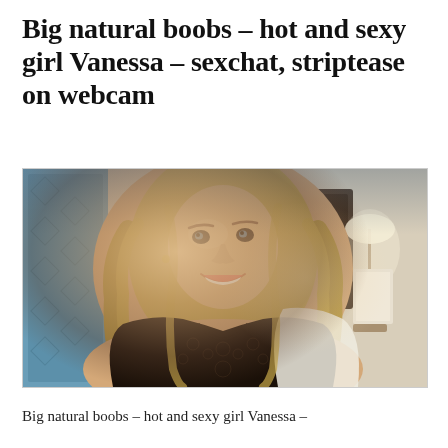Big natural boobs – hot and sexy girl Vanessa – sexchat, striptease on webcam
[Figure (photo): A blonde woman wearing black lace lingerie, smiling, with long wavy hair, photographed indoors with a lamp and decorative panel visible in the background.]
Big natural boobs – hot and sexy girl Vanessa –